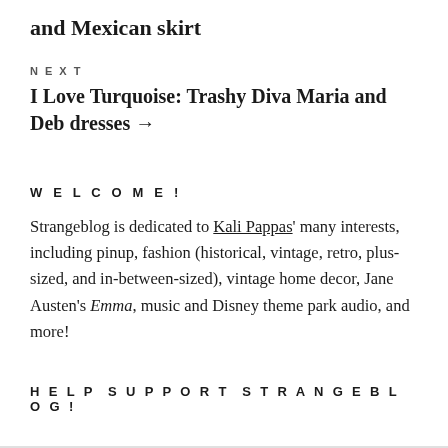and Mexican skirt
NEXT
I Love Turquoise: Trashy Diva Maria and Deb dresses →
WELCOME!
Strangeblog is dedicated to Kali Pappas' many interests, including pinup, fashion (historical, vintage, retro, plus-sized, and in-between-sized), vintage home decor, Jane Austen's Emma, music and Disney theme park audio, and more!
HELP SUPPORT STRANGEBLOG!